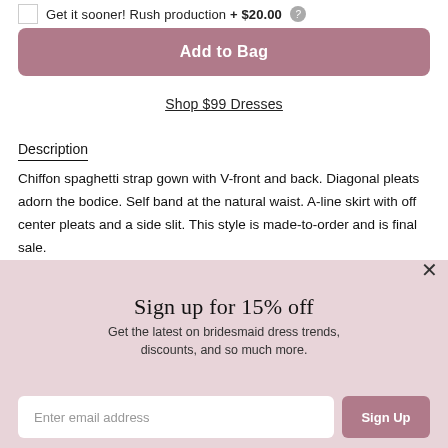Get it sooner! Rush production + $20.00
Add to Bag
Shop $99 Dresses
Description
Chiffon spaghetti strap gown with V-front and back. Diagonal pleats adorn the bodice. Self band at the natural waist. A-line skirt with off center pleats and a side slit. This style is made-to-order and is final sale.
Sign up for 15% off
Get the latest on bridesmaid dress trends, discounts, and so much more.
Enter email address
Sign Up